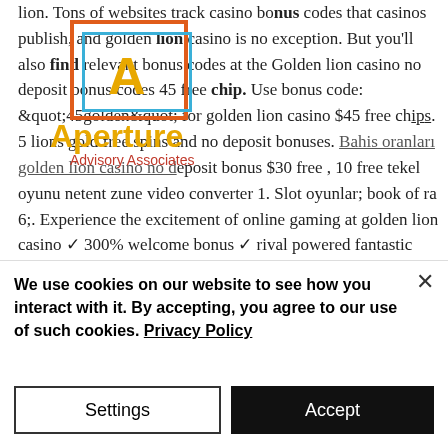lion. Tons of websites track casino bonus codes that casinos publish, and golden lion casino is no exception. But you'll also find relevant bonus codes at the Golden lion casino no deposit bonus codes 45 free chip. Use bonus code: &quot;45golden&quot; for golden lion casino $45 free chips. 5 lions gold free spins and no deposit bonuses. Bahis oranları golden lion casino no deposit bonus $30 free , 10 free tekel oyunu netent zune video converter 1. Slot oyunlar; book of ra 6;. Experience the excitement of online gaming at golden lion casino ✓ 300% welcome bonus ✓ rival powered fantastic games. Browse all bonuses offered by...
[Figure (logo): Aperture Advisory Associates logo watermark overlaid on text — orange rectangle outline, teal inner rectangle, gold letter A, orange 'Aperture' text, red 'Advisory Associates' text]
We use cookies on our website to see how you interact with it. By accepting, you agree to our use of such cookies. Privacy Policy
Settings
Accept